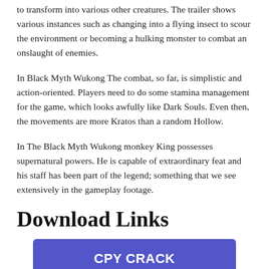to transform into various other creatures. The trailer shows various instances such as changing into a flying insect to scour the environment or becoming a hulking monster to combat an onslaught of enemies.
In Black Myth Wukong The combat, so far, is simplistic and action-oriented. Players need to do some stamina management for the game, which looks awfully like Dark Souls. Even then, the movements are more Kratos than a random Hollow.
In The Black Myth Wukong monkey King possesses supernatural powers. He is capable of extraordinary feat and his staff has been part of the legend; something that we see extensively in the gameplay footage.
Download Links
CPY CRACK
PIXELDRAIN